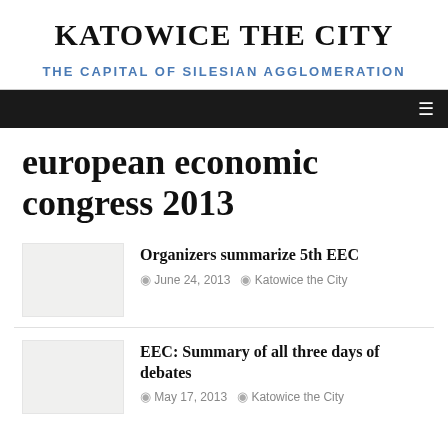KATOWICE THE CITY
THE CAPITAL OF SILESIAN AGGLOMERATION
european economic congress 2013
Organizers summarize 5th EEC
June 24, 2013 | Katowice the City
EEC: Summary of all three days of debates
May 17, 2013 | Katowice the City